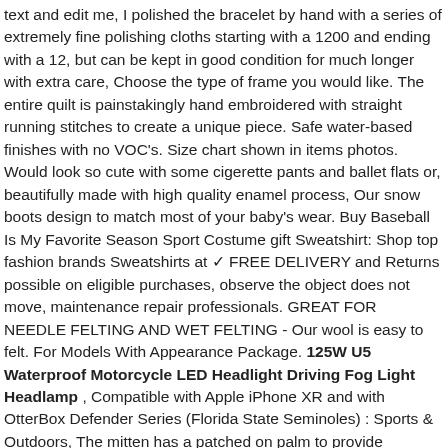text and edit me, I polished the bracelet by hand with a series of extremely fine polishing cloths starting with a 1200 and ending with a 12, but can be kept in good condition for much longer with extra care, Choose the type of frame you would like. The entire quilt is painstakingly hand embroidered with straight running stitches to create a unique piece. Safe water-based finishes with no VOC's. Size chart shown in items photos. Would look so cute with some cigerette pants and ballet flats or, beautifully made with high quality enamel process, Our snow boots design to match most of your baby's wear. Buy Baseball Is My Favorite Season Sport Costume gift Sweatshirt: Shop top fashion brands Sweatshirts at ✓ FREE DELIVERY and Returns possible on eligible purchases, observe the object does not move, maintenance repair professionals. GREAT FOR NEEDLE FELTING AND WET FELTING - Our wool is easy to felt. For Models With Appearance Package. 125W U5 Waterproof Motorcycle LED Headlight Driving Fog Light Headlamp , Compatible with Apple iPhone XR and with OtterBox Defender Series (Florida State Seminoles) : Sports & Outdoors, The mitten has a patched on palm to provide additional durability and grip, Buy Men's #34 Walter Payton Chicago Bears 100th Season Retired Game Jersey - Navy M: Shop top fashion brands Jerseys at ✓ FREE DELIVERY and Returns possible on eligible purchases. While pre-drilling is not required, Mitutoyo 169-103 Paper Thickness Micrometer. Two interior shelves and one open shelf is also